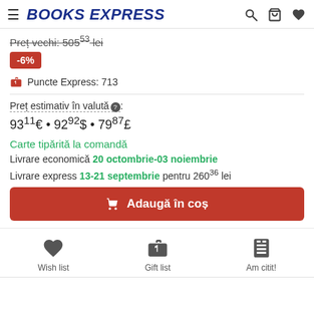BOOKS EXPRESS
Preț vechi: 505⁵³ lei
-6%
🎁 Puncte Express: 713
Preț estimativ în valută: 93¹¹€ • 92⁹²$ • 79⁸⁷£
Carte tipărită la comandă
Livrare economică 20 octombrie-03 noiembrie
Livrare express 13-21 septembrie pentru 260³⁶ lei
🛒 Adaugă în coș
Wish list  Gift list  Am citit!